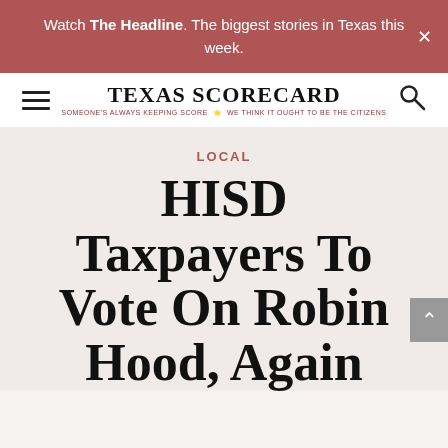Watch The Headline. The biggest stories in Texas this week.
[Figure (logo): Texas Scorecard logo with hamburger menu and search icon. Text: TEXAS SCORECARD. Subtitle: SOMEONE'S ALWAYS KEEPING SCORE - WE THINK IT OUGHT TO BE THE CITIZENS]
LOCAL
HISD Taxpayers To Vote On Robin Hood, Again